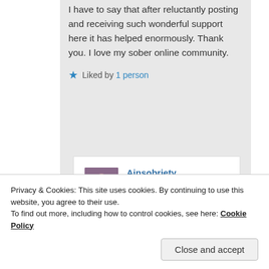I have to say that after reluctantly posting and receiving such wonderful support here it has helped enormously. Thank you. I love my sober online community.
★ Liked by 1 person
Ainsobriety on May 2, 2020 at 2:45 am said:
Privacy & Cookies: This site uses cookies. By continuing to use this website, you agree to their use. To find out more, including how to control cookies, see here: Cookie Policy